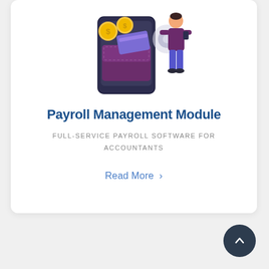[Figure (illustration): Illustration of a smartphone wallet with gold coins and credit cards, alongside a person in a purple sweater and blue pants holding a phone]
Payroll Management Module
FULL-SERVICE PAYROLL SOFTWARE FOR ACCOUNTANTS
Read More >